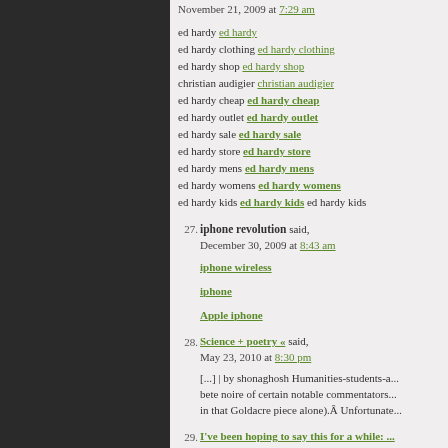November 21, 2009 at 7:29 am
ed hardy ed hardy
ed hardy clothing ed hardy clothing
ed hardy shop ed hardy shop
christian audigier christian audigier
ed hardy cheap ed hardy cheap
ed hardy outlet ed hardy outlet
ed hardy sale ed hardy sale
ed hardy store ed hardy store
ed hardy mens ed hardy mens
ed hardy womens ed hardy womens
ed hardy kids ed hardy kids ed hardy kids
27. iphone revolution said,
December 30, 2009 at 8:43 am
iphone wireless
iphone
Apple iphone
28. Science + poetry « said,
May 23, 2010 at 8:30 pm
[...] | by shonaghosh Humanities-students-a... bete noire of certain notable commentators... in that Goldacre piece alone).Â Unfortunate...
29. I've been hoping to say this for a while: ...
August 17, 2010 at 2:15 pm